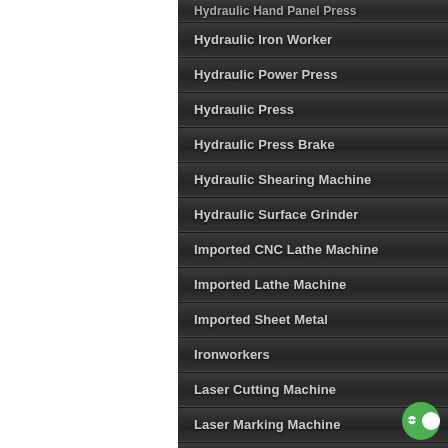Hydraulic Hand Panel Press
Hydraulic Iron Worker
Hydraulic Power Press
Hydraulic Press
Hydraulic Press Brake
Hydraulic Shearing Machine
Hydraulic Surface Grinder
Imported CNC Lathe Machine
Imported Lathe Machine
Imported Sheet Metal
Ironworkers
Laser Cutting Machine
Laser Marking Machine
Lathe Machine